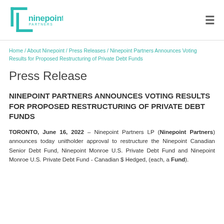[Figure (logo): Ninepoint Partners logo — teal square bracket graphic with 'ninepoint PARTNERS' text in teal]
Home / About Ninepoint / Press Releases / Ninepoint Partners Announces Voting Results for Proposed Restructuring of Private Debt Funds
Press Release
NINEPOINT PARTNERS ANNOUNCES VOTING RESULTS FOR PROPOSED RESTRUCTURING OF PRIVATE DEBT FUNDS
TORONTO, June 16, 2022 – Ninepoint Partners LP (Ninepoint Partners) announces today unitholder approval to restructure the Ninepoint Canadian Senior Debt Fund, Ninepoint Monroe U.S. Private Debt Fund and Ninepoint Monroe U.S. Private Debt Fund - Canadian $ Hedged, (each, a Fund).